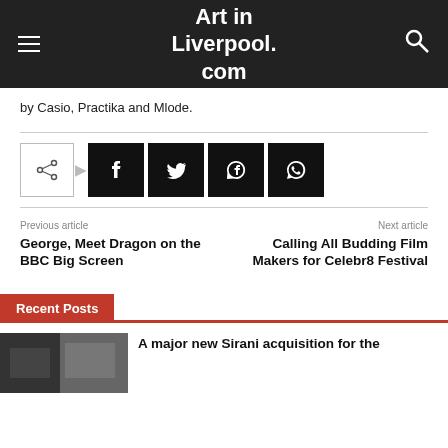Art in Liverpool.com
by Casio, Practika and Mlode.
[Figure (infographic): Social share bar with icons for Facebook, Twitter, Pinterest, and WhatsApp]
Previous article
George, Meet Dragon on the BBC Big Screen
Next article
Calling All Budding Film Makers for Celebr8 Festival
Recent Posts
A major new Sirani acquisition for the